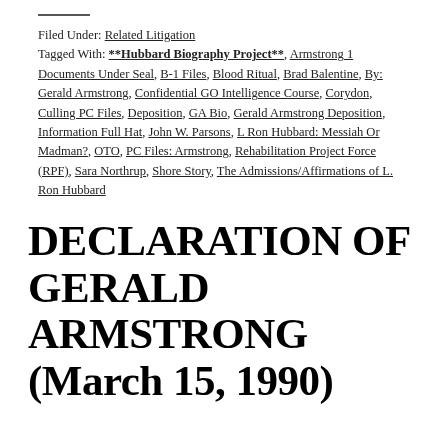Filed Under: Related Litigation
Tagged With: **Hubbard Biography Project**, Armstrong 1 Documents Under Seal, B-1 Files, Blood Ritual, Brad Balentine, By: Gerald Armstrong, Confidential GO Intelligence Course, Corydon, Culling PC Files, Deposition, GA Bio, Gerald Armstrong Deposition, Information Full Hat, John W. Parsons, L Ron Hubbard: Messiah Or Madman?, OTO, PC Files: Armstrong, Rehabilitation Project Force (RPF), Sara Northrup, Shore Story, The Admissions/Affirmations of L. Ron Hubbard
DECLARATION OF GERALD ARMSTRONG (March 15, 1990)